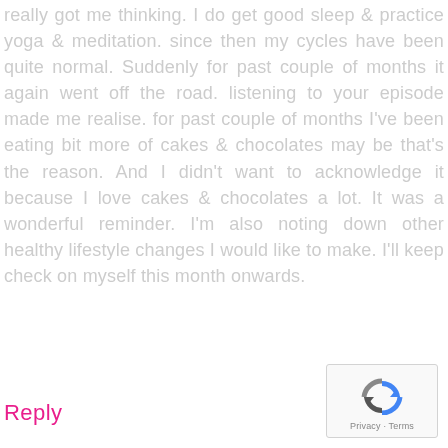really got me thinking. I do get good sleep & practice yoga & meditation. since then my cycles have been quite normal. Suddenly for past couple of months it again went off the road. listening to your episode made me realise. for past couple of months I've been eating bit more of cakes & chocolates may be that's the reason. And I didn't want to acknowledge it because I love cakes & chocolates a lot. It was a wonderful reminder. I'm also noting down other healthy lifestyle changes I would like to make. I'll keep check on myself this month onwards.
Reply
[Figure (logo): Google reCAPTCHA logo with Privacy and Terms text]